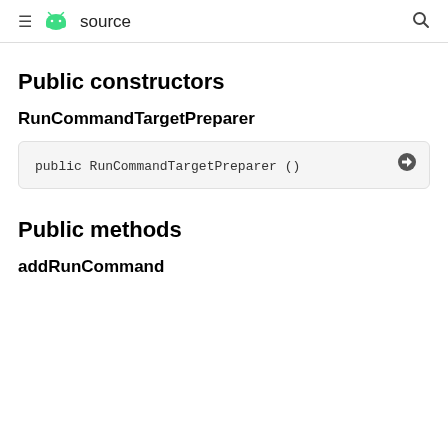≡ android source 🔍
Public constructors
RunCommandTargetPreparer
public RunCommandTargetPreparer ()
Public methods
addRunCommand